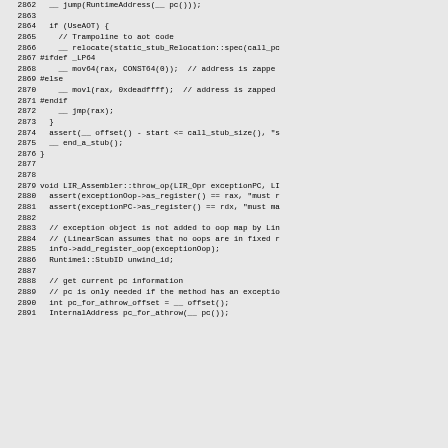Source code listing lines 2862-2891, C++ code for LIR_Assembler including jump, if/ifdef blocks, assert statements, and throw_op function definition.